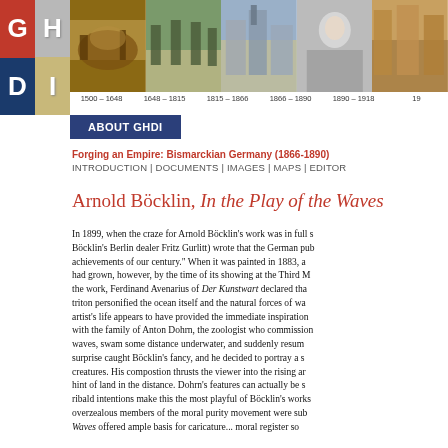[Figure (infographic): GHDI logo with G H D I letters in colored quadrants, plus historical photo navigation bar with periods 1500-1648, 1648-1815, 1815-1866, 1866-1890, 1890-1918]
ABOUT GHDI
Forging an Empire: Bismarckian Germany (1866-1890)
INTRODUCTION | DOCUMENTS | IMAGES | MAPS | EDITOR
Arnold Böcklin, In the Play of the Waves
In 1899, when the craze for Arnold Böcklin's work was in full s... Böcklin's Berlin dealer Fritz Gurlitt) wrote that the German pub... achievements of our century." When it was painted in 1883, a... had grown, however, by the time of its showing at the Third M... the work, Ferdinand Avenarius of Der Kunstwart declared tha... triton personified the ocean itself and the natural forces of wa... artist's life appears to have provided the immediate inspiration... with the family of Anton Dohrn, the zoologist who commission... waves, swam some distance underwater, and suddenly resum... surprise caught Böcklin's fancy, and he decided to portray a s... creatures. His compostion thrusts the viewer into the rising ar... hint of land in the distance. Dohrn's features can actually be s... ribald intentions make this the most playful of Böcklin's works... overzealous members of the moral purity movement were sub... Waves offered ample basis for caricature... moral register so...